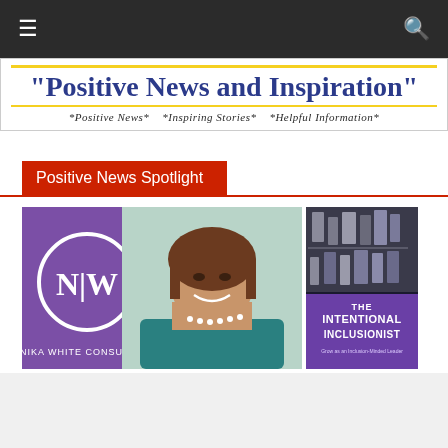Navigation bar with menu and search icons
"Positive News and Inspiration"
*Positive News*   *Inspiring Stories*   *Helpful Information*
Positive News Spotlight
[Figure (photo): Composite image showing Nika White Consulting logo (purple square with N|W circle logo), a smiling professional woman with brown hair wearing a teal top and pearl necklace, and a book cover for 'The Intentional Inclusionist' with a purple and gray design]